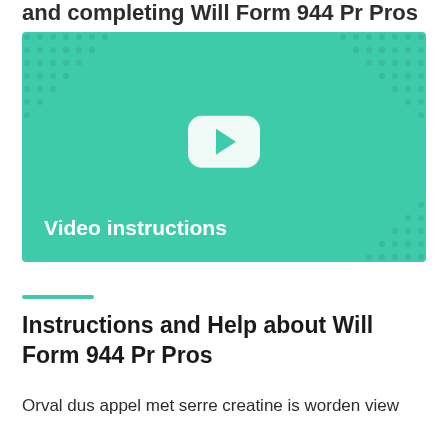and completing Will Form 944 Pr Pros
[Figure (screenshot): Green video thumbnail with a white rounded-rectangle play button in the center and 'Video instructions' text in the lower left corner. Decorative dot patterns in the corners.]
Instructions and Help about Will Form 944 Pr Pros
Orval dus appel met serre creatine is worden view détectives dil...